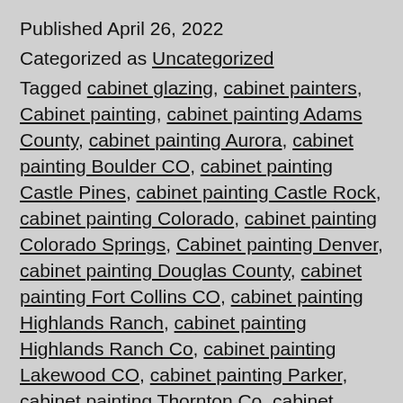Published April 26, 2022
Categorized as Uncategorized
Tagged cabinet glazing, cabinet painters, Cabinet painting, cabinet painting Adams County, cabinet painting Aurora, cabinet painting Boulder CO, cabinet painting Castle Pines, cabinet painting Castle Rock, cabinet painting Colorado, cabinet painting Colorado Springs, Cabinet painting Denver, cabinet painting Douglas County, cabinet painting Fort Collins CO, cabinet painting Highlands Ranch, cabinet painting Highlands Ranch Co, cabinet painting Lakewood CO, cabinet painting Parker, cabinet painting Thornton Co, cabinet refinishing, cabinet refinishing Adams County, cabinet refinishing Arvada CO, cabinet refinishing Aurora co., cabinet refinishing Boulder co., cabinet refinishing Brighton CO, cabinet refinishing Broomfield CO, cabinet refinishing Castle Pines Colorado,